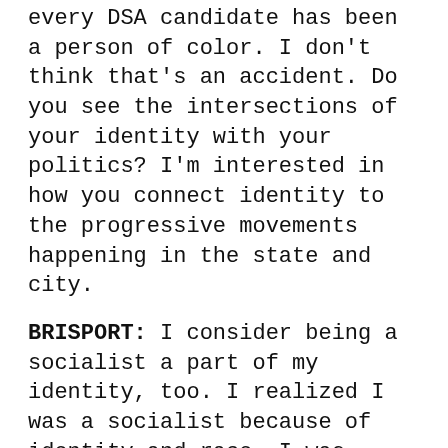every DSA candidate has been a person of color. I don't think that's an accident. Do you see the intersections of your identity with your politics? I'm interested in how you connect identity to the progressive movements happening in the state and city.
BRISPORT: I consider being a socialist a part of my identity, too. I realized I was a socialist because of identity and race. I was actually in the shower—
OCASIO-CORTEZ: [Laughs] How long ago was this?
BRISPORT: This was the summer of